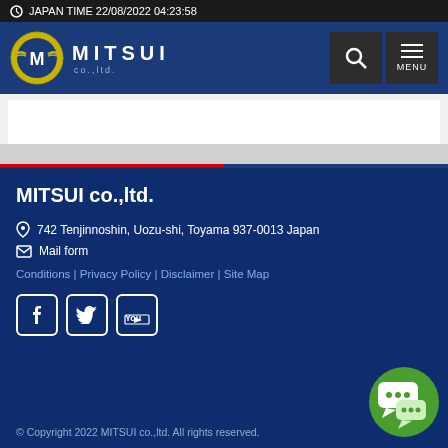JAPAN TIME 22/08/2022 04:23:58
[Figure (logo): Mitsui co.,ltd. navigation bar with logo emblem, MITSUI co.,ltd. text, search button, and MENU button on dark blue background]
MITSUI co.,ltd.
742 Tenjinnoshin, Uozu-shi, Toyama 937-0013 Japan
Mail form
Conditions | Privacy Policy | Disclaimer | Site Map
[Figure (illustration): Social media icons: Facebook, Twitter, YouTube]
© Copyright 2022 MITSUI co.,ltd. All rights reserved.